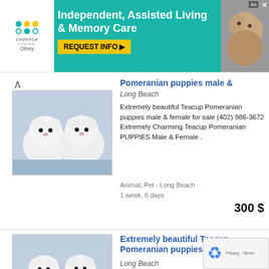[Figure (photo): Advertisement banner for Codence Living Olney — Independent, Assisted Living & Memory Care with REQUEST INFO button and photo of elderly couple]
[Figure (photo): Two small white fluffy Teacup Pomeranian puppies sitting on blue blanket — listing 1 thumbnail]
Pomeranian puppies male &
Long Beach
Extremely beautiful Teacup Pomeranian puppies male & female for sale (402) 986-3672 Extremely Charming Teacup Pomeranian PUPPIES Male & Female .
Animal, Pet - Long Beach
1 week, 6 days
300 $
[Figure (photo): Two small white fluffy Teacup Pomeranian puppies sitting on blue blanket — listing 2 thumbnail]
Extremely beautiful Teacup Pomeranian puppies male &
Long Beach
Extremely beautiful Teacup Pomeranian puppies male & female for sale (402) 986-3672 Extremely Charming Teacup Pomeranian PUPPIES Male & Female .